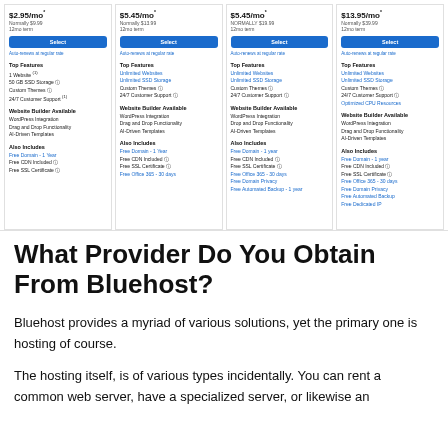[Figure (screenshot): Bluehost pricing table screenshot showing 4 hosting plans with prices $2.95/mo, $5.45/mo, $5.45/mo, $13.95/mo, with Select buttons, features lists including Top Features, Website Builder Available, Also Includes sections]
What Provider Do You Obtain From Bluehost?
Bluehost provides a myriad of various solutions, yet the primary one is hosting of course.
The hosting itself, is of various types incidentally. You can rent a common web server, have a specialized server, or likewise an